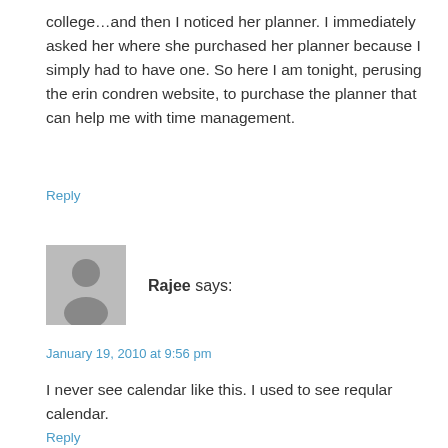college…and then I noticed her planner. I immediately asked her where she purchased her planner because I simply had to have one. So here I am tonight, perusing the erin condren website, to purchase the planner that can help me with time management.
Reply
[Figure (illustration): Grey avatar icon showing a generic user silhouette]
Rajee says:
January 19, 2010 at 9:56 pm
I never see calendar like this. I used to see reqular calendar.
Reply